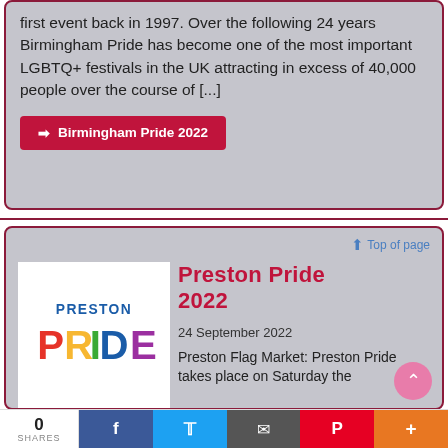first event back in 1997. Over the following 24 years Birmingham Pride has become one of the most important LGBTQ+ festivals in the UK attracting in excess of 40,000 people over the course of [...]
➜ Birmingham Pride 2022
↑ Top of page
Preston Pride 2022
24 September 2022
Preston Flag Market: Preston Pride takes place on Saturday the
[Figure (logo): Preston Pride logo: PRESTON text above colorful PRIDE lettering with rainbow-colored segments]
0 SHARES | f | t | email | p | +